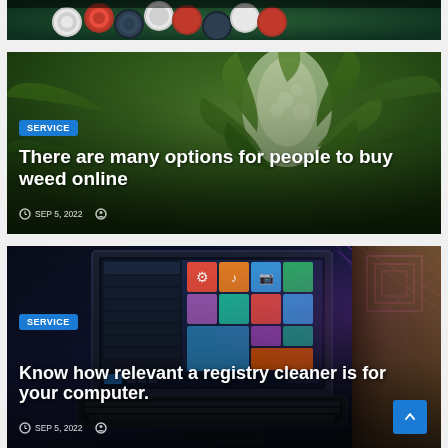[Figure (photo): Partial view of casino poker chips on green felt table background (top of card cut off)]
[Figure (photo): Close-up photo of cannabis/marijuana flower bud with green leaves, dark background]
SERVICE
There are many options for people to buy weed online
SEP 5, 2022
[Figure (photo): Laptop computer with Windows 10 start menu visible on screen, purple/pink neon geometric shapes in background]
SERVICE
Know how relevant a registry cleaner is for your computer.
SEP 5, 2022